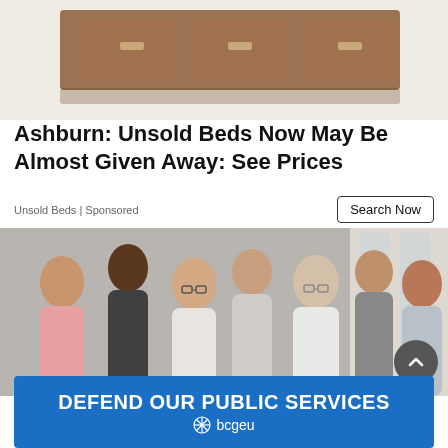[Figure (photo): Wooden bed frame with drawers, top view/partial view, brown wood finish]
Ashburn: Unsold Beds Now May Be Almost Given Away: See Prices
Unsold Beds | Sponsored
Search Now
[Figure (photo): Group of seven diverse smiling people, men and women, in a professional setting]
[Figure (logo): BCGEU banner: DEFEND OUR PUBLIC SERVICES with bcgeu logo and snowflake icon]